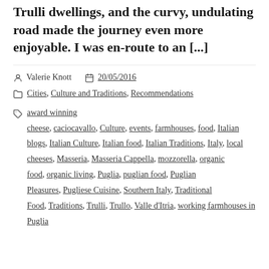Trulli dwellings, and the curvy, undulating road made the journey even more enjoyable. I was en-route to an [...]
Valerie Knott   20/05/2016
Cities, Culture and Traditions, Recommendations
award winning cheese, caciocavallo, Culture, events, farmhouses, food, Italian blogs, Italian Culture, Italian food, Italian Traditions, Italy, local cheeses, Masseria, Masseria Cappella, mozzorella, organic food, organic living, Puglia, puglian food, Puglian Pleasures, Pugliese Cuisine, Southern Italy, Traditional Food, Traditions, Trulli, Trullo, Valle d'Itria, working farmhouses in Puglia